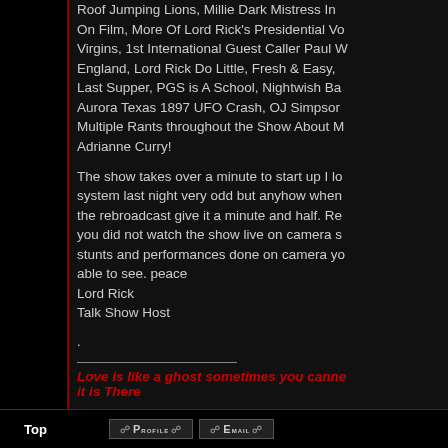Roof Jumping Lions, Millie Dark Mistress In On Film, More Of Lord Rick's Presidential Vo Virgins, 1st International Guest Caller Paul W England, Lord Rick Do Little, Fresh & Easy, Last Supper, PGS is A School, Nightwish Ba Aurora Texas 1897 UFO Crash, OJ Simpson Multiple Rants throughout the Show About M Adrianne Curry!
The show takes over a minute to start up l lo system last night very odd but anyhow when the rebroadcast give it a minute and half. Re you did not watch the show live on camera s stunts and performances done on camera yo able to see. peace
Lord Rick
Talk Show Host
.
Love is like a ghost sometimes you canne it is There
Top  Profile  Email